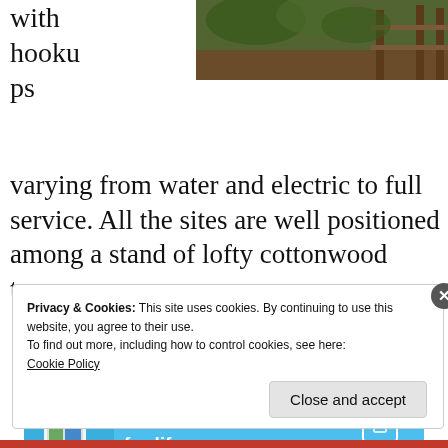with hookups
[Figure (photo): Outdoor campsite area with wooden fencing and trees, viewed from above]
varying from water and electric to full service. All the sites are well positioned among a stand of lofty cottonwood trees.
[Figure (infographic): Advertisement banner for Day One app - Your Journal for life, blue background with phone mockup]
Privacy & Cookies: This site uses cookies. By continuing to use this website, you agree to their use.
To find out more, including how to control cookies, see here:
Cookie Policy
Close and accept